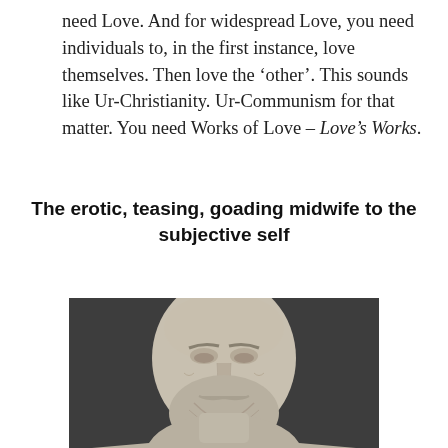need Love. And for widespread Love, you need individuals to, in the first instance, love themselves. Then love the 'other'. This sounds like Ur-Christianity. Ur-Communism for that matter. You need Works of Love – Love's Works.
The erotic, teasing, goading midwife to the subjective self
[Figure (photo): A marble or stone bust sculpture of a bearded man with heavy-lidded eyes, possibly Socrates, photographed against a dark granite background.]